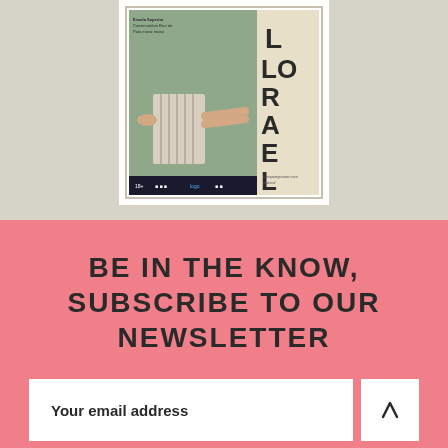[Figure (photo): A theater/festival promotional poster showing a person lying on a radiator with large letters spelling FLORAL or similar festival name on the right side, with sponsor logos at the bottom.]
BE IN THE KNOW, SUBSCRIBE TO OUR NEWSLETTER
Your email address